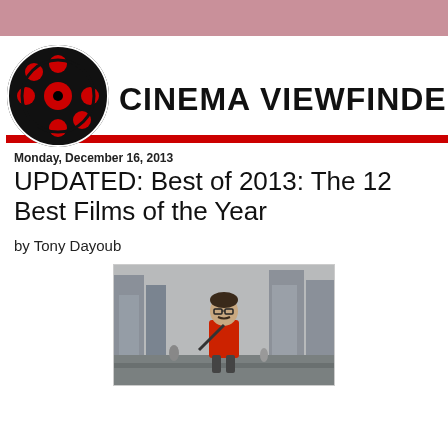[Figure (logo): Cinema Viewfinder logo with film reel icon and site name]
Monday, December 16, 2013
UPDATED: Best of 2013: The 12 Best Films of the Year
by Tony Dayoub
[Figure (photo): Man in red shirt with mustache and glasses walking outdoors in urban setting with city buildings in background]